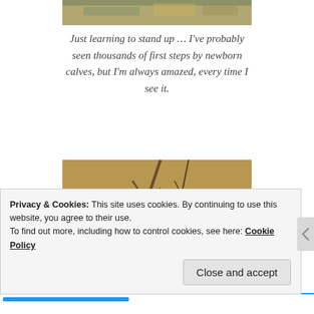[Figure (photo): Partial photo of an outdoor scene, cropped at top of page]
Just learning to stand up … I've probably seen thousands of first steps by newborn calves, but I'm always amazed, every time I see it.
[Figure (photo): A person's hand resting on a black curly-haired newborn calf outdoors among dry grass and bare branches]
Privacy & Cookies: This site uses cookies. By continuing to use this website, you agree to their use.
To find out more, including how to control cookies, see here: Cookie Policy
Close and accept